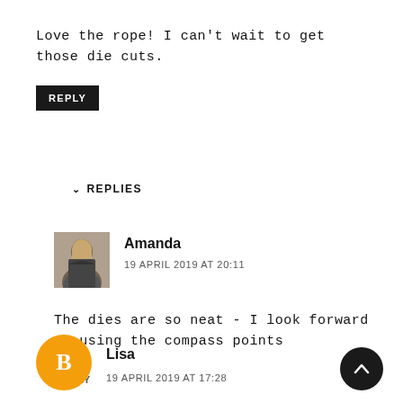Love the rope! I can't wait to get those die cuts.
REPLY
▼ REPLIES
[Figure (photo): Profile photo of Amanda - a woman with long dark hair]
Amanda
19 APRIL 2019 AT 20:11
The dies are so neat - I look forward to using the compass points
REPLY
[Figure (illustration): Scroll to top button - dark circle with upward arrow]
[Figure (illustration): Lisa's avatar - orange circle with Blogger B logo]
Lisa
19 APRIL 2019 AT 17:28